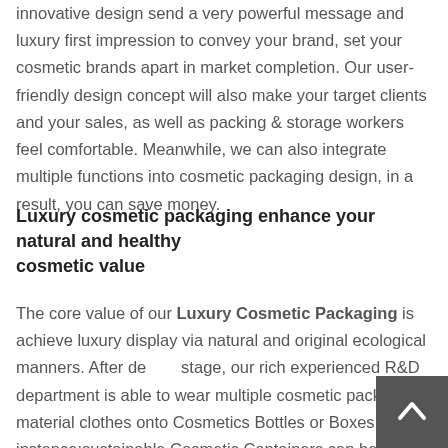innovative design send a very powerful message and luxury first impression to convey your brand, set your cosmetic brands apart in market completion. Our user-friendly design concept will also make your target clients and your sales, as well as packing & storage workers feel comfortable. Meanwhile, we can also integrate multiple functions into cosmetic packaging design, in a result, you can save money.
Luxury cosmetic packaging enhance your natural and healthy cosmetic value
The core value of our Luxury Cosmetic Packaging is achieve luxury display via natural and original ecological manners. After design stage, our rich experienced R&D department is able to wear multiple cosmetic packaging material clothes onto Cosmetics Bottles or Boxes. For instance:sustainable Cosmetic Containers can be made of original ecological plant base polymer, we can also Custom Cosmetic Packaging boxes made of natural wooden